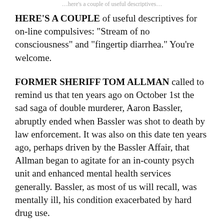…here's a couple of useful descriptives…
HERE'S A COUPLE of useful descriptives for on-line compulsives: “Stream of no consciousness” and “fingertip diarrhea.” You’re welcome.
FORMER SHERIFF TOM ALLMAN called to remind us that ten years ago on October 1st the sad saga of double murderer, Aaron Bassler, abruptly ended when Bassler was shot to death by law enforcement. It was also on this date ten years ago, perhaps driven by the Bassler Affair, that Allman began to agitate for an in-county psych unit and enhanced mental health services generally. Bassler, as most of us will recall, was mentally ill, his condition exacerbated by hard drug use.
ALLMAN said he was fully recovered from the heart attack he suffered recently and was back on patrol out of Shelter Cove with the Humboldt County Sheriff’s…